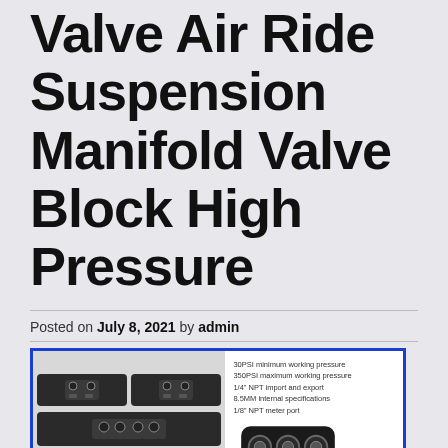Valve Air Ride Suspension Manifold Valve Block High Pressure
Posted on July 8, 2021 by admin
[Figure (photo): Product photo of air ride suspension manifold valve block showing multiple valve units in a grid layout and a close-up of the valve block from below, alongside specification text listing: 30PSI minimum working pressure, 350PSI maximum working pressure, 1/4" NPT import and export, 8.5MM internal specifications, 1/8" NPT meter port. Thread size information shown at bottom.]